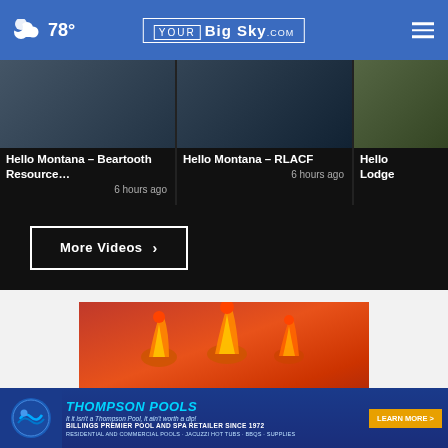78° YourBigSky.com
[Figure (screenshot): Video thumbnail: Hello Montana – Beartooth Resource..., 6 hours ago]
[Figure (screenshot): Video thumbnail: Hello Montana – RLACF, 6 hours ago]
[Figure (screenshot): Video thumbnail: Hello Lodge (partially visible)]
More Videos ›
[Figure (screenshot): Lung cancer awareness video ad: LUNG CANCER WON'T QUIT, EVEN IF YOU DID. with close button]
[Figure (screenshot): Thompson Pools advertisement: Billings Premier Pool and Spa Retailer Since 1972. Residential and Commercial Pools · Jacuzzi Hot Tubs · BBQs · Supplies. LEARN MORE >]